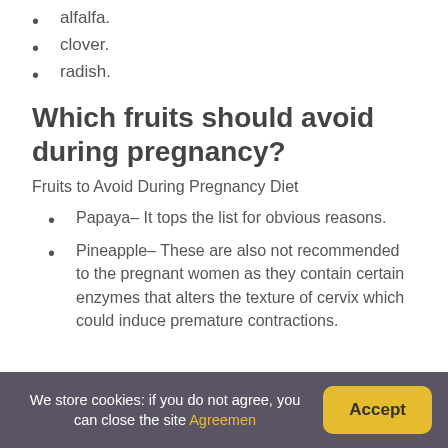alfalfa.
clover.
radish.
Which fruits should avoid during pregnancy?
Fruits to Avoid During Pregnancy Diet
Papaya– It tops the list for obvious reasons.
Pineapple– These are also not recommended to the pregnant women as they contain certain enzymes that alters the texture of cervix which could induce premature contractions.
We store cookies: if you do not agree, you can close the site Agreemen  Accept